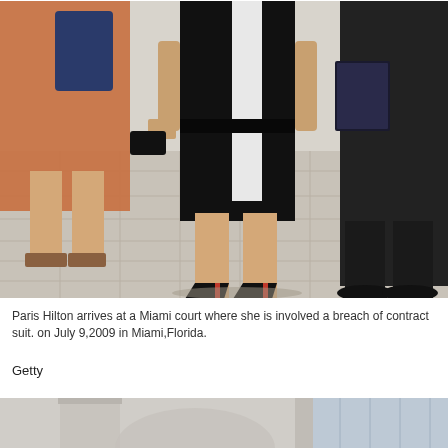[Figure (photo): Paris Hilton arriving at a Miami court, wearing a black dress and black high heels, walking on a tiled outdoor area. Other people visible in the background on left and right.]
Paris Hilton arrives at a Miami court where she is involved a breach of contract suit. on July 9,2009 in Miami,Florida.
Getty
[Figure (photo): Bottom portion of a second photo showing the base of a building exterior with columns and glass windows visible.]